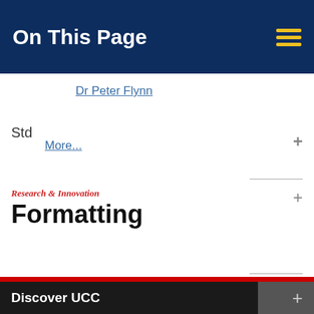On This Page
Dr Peter Flynn
Std
More...
Research & Innovation
Formatting
Discover UCC
Schools & Departments
We use cookies to help give you the best experience on our website. By continuing without changing your cookie settings, we assume you agree to this. Please read our cookie policy to find out more.
Business & Enterprise
Alumni & Development
Close
Home